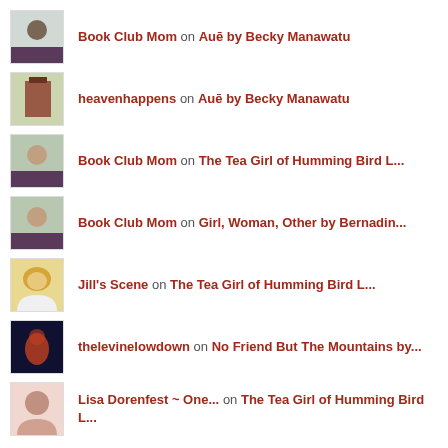Book Club Mom on Auē by Becky Manawatu
heavenhappens on Auē by Becky Manawatu
Book Club Mom on The Tea Girl of Humming Bird L...
Book Club Mom on Girl, Woman, Other by Bernadin...
Jill's Scene on The Tea Girl of Humming Bird L...
thelevinelowdown on No Friend But The Mountains by...
Lisa Dorenfest ~ One... on The Tea Girl of Humming Bird L...